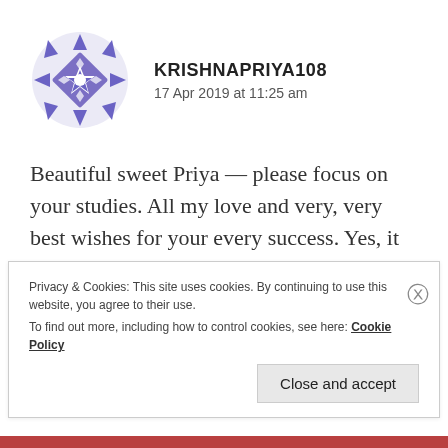[Figure (illustration): Circular avatar with blue/purple geometric snowflake/star pattern design]
KRISHNAPRIYA108
17 Apr 2019 at 11:25 am
Beautiful sweet Priya — please focus on your studies. All my love and very, very best wishes for your every success. Yes, it is wonderful to connect with each other here, but each time and stage in our life has its own dharma and priorities – when we fulfill them, our life flowers. Prayers for your life to
Privacy & Cookies: This site uses cookies. By continuing to use this website, you agree to their use.
To find out more, including how to control cookies, see here: Cookie Policy
Close and accept